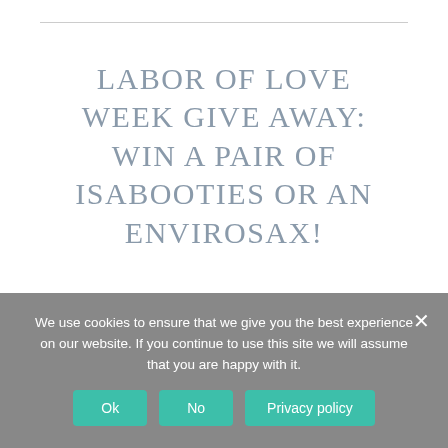LABOR OF LOVE WEEK GIVE AWAY: WIN A PAIR OF ISABOOTIES OR AN ENVIROSAX!
As part of Eco Child's Play Labor of Love series on birth stories, natural birth, hospital births, and home births, our writers will be sharing their
We use cookies to ensure that we give you the best experience on our website. If you continue to use this site we will assume that you are happy with it.